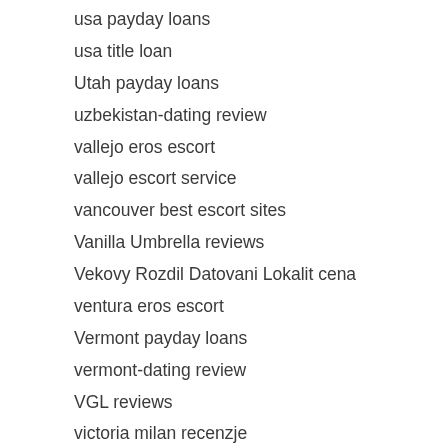usa payday loans
usa title loan
Utah payday loans
uzbekistan-dating review
vallejo eros escort
vallejo escort service
vancouver best escort sites
Vanilla Umbrella reviews
Vekovy Rozdil Datovani Lokalit cena
ventura eros escort
Vermont payday loans
vermont-dating review
VGL reviews
victoria milan recenzje
victoria milan review
victorville escort index
Video Dating review
Video Dating username